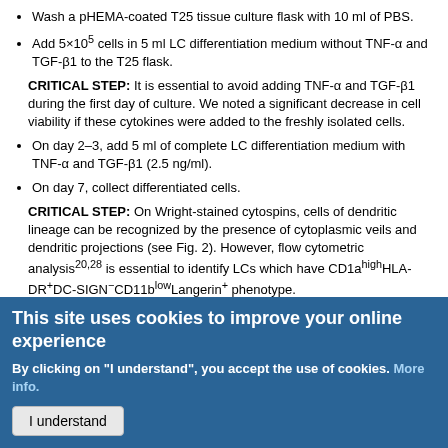Wash a pHEMA-coated T25 tissue culture flask with 10 ml of PBS.
Add 5×10^5 cells in 5 ml LC differentiation medium without TNF-α and TGF-β1 to the T25 flask.
CRITICAL STEP: It is essential to avoid adding TNF-α and TGF-β1 during the first day of culture. We noted a significant decrease in cell viability if these cytokines were added to the freshly isolated cells.
On day 2–3, add 5 ml of complete LC differentiation medium with TNF-α and TGF-β1 (2.5 ng/ml).
On day 7, collect differentiated cells.
CRITICAL STEP: On Wright-stained cytospins, cells of dendritic lineage can be recognized by the presence of cytoplasmic veils and dendritic projections (see Fig. 2). However, flow cytometric analysis^20,28 is essential to identify LCs which have CD1a^high HLA-DR^+DC-SIGN^−CD11b^low Langerin^+ phenotype.
This site uses cookies to improve your online experience
By clicking on "I understand", you accept the use of cookies. More info.